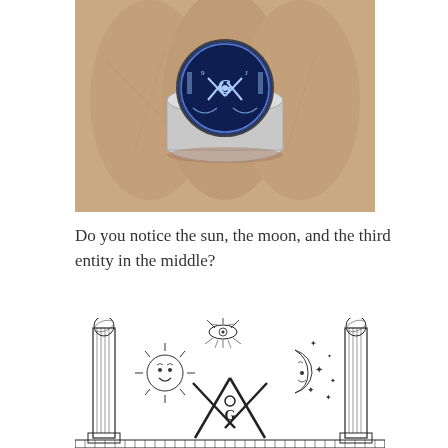[Figure (photo): Close-up photograph of a Masonic ring held between fingers. The ring features a dark blue circular face with the Masonic square and compass symbol with the letter G in the center, flanked by two pillars and decorative laurel branches.]
Do you notice the sun, the moon, and the third entity in the middle?
[Figure (illustration): Black and white engraving of the Masonic square and compass symbol with the letter G in the center. Two ornate pillars with globe finials flank the design. Above the compass is a radiating all-seeing eye in a triangle surrounded by sun rays. To the left is a smiling sun face with rays. To the right is a crescent moon with a face and scattered stars. The bottom shows a checkered floor or decorative base.]